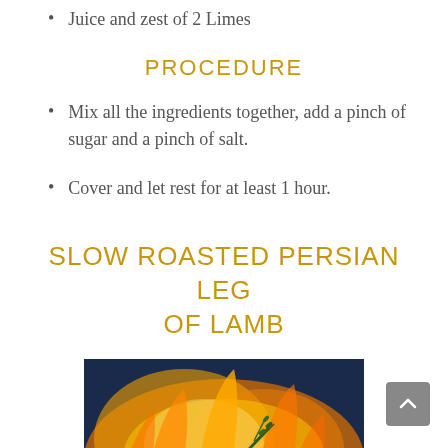Juice and zest of 2 Limes
PROCEDURE
Mix all the ingredients together, add a pinch of sugar and a pinch of salt.
Cover and let rest for at least 1 hour.
SLOW ROASTED PERSIAN LEG OF LAMB
[Figure (photo): Photo of a roasted leg of lamb with rosemary, surrounded by flames and fire on a dark background]